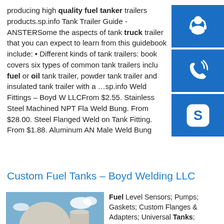producing high quality fuel tanker trailers products.sp.info Tank Trailer Guide - ANSTERSome the aspects of tank truck trailer that you can expect to learn from this guidebook include: • Different kinds of tank trailers: book covers six types of common tank trailers including fuel or oil tank trailer, powder tank trailer and insulated tank trailer with a …sp.info Weld Fittings – Boyd Welding LLCFrom $2.55. Stainless Steel Machined NPT Flat Weld Bung. From $28.00. Steel Flanged Weld on Tank Fitting. From $1.88. Aluminum AN Male Weld Bung
[Figure (other): Three blue buttons: headset/customer support icon, phone/call icon, Skype icon]
Custom Fuel Tanks – Boyd Welding LLC
[Figure (photo): Industrial facility with large white spherical and cylindrical storage tanks, truck in foreground, blue sky]
Fuel Level Sensors; Pumps; Gaskets; Custom Flanges & Adapters; Universal Tanks; Universal EFI Tanks; Chevrolet + 55-59 C10 Truck; 60-62 C10 Truck; 63-72 C10 Truck; 73-87 C10